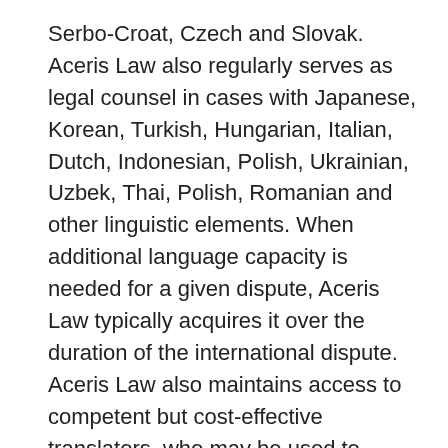Serbo-Croat, Czech and Slovak. Aceris Law also regularly serves as legal counsel in cases with Japanese, Korean, Turkish, Hungarian, Italian, Dutch, Indonesian, Polish, Ukrainian, Uzbek, Thai, Polish, Romanian and other linguistic elements. When additional language capacity is needed for a given dispute, Aceris Law typically acquires it over the duration of the international dispute. Aceris Law also maintains access to competent but cost-effective translators, who may be used to translate documents into the language of the arbitration proceedings. While all our lawyers speak fluent English and French, they are all also polyglots.